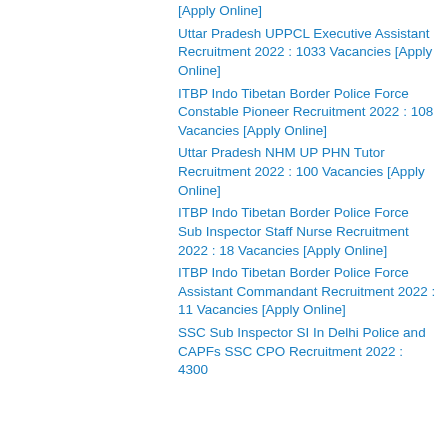[Apply Online]
Uttar Pradesh UPPCL Executive Assistant Recruitment 2022 : 1033 Vacancies [Apply Online]
ITBP Indo Tibetan Border Police Force Constable Pioneer Recruitment 2022 : 108 Vacancies [Apply Online]
Uttar Pradesh NHM UP PHN Tutor Recruitment 2022 : 100 Vacancies [Apply Online]
ITBP Indo Tibetan Border Police Force Sub Inspector Staff Nurse Recruitment 2022 : 18 Vacancies [Apply Online]
ITBP Indo Tibetan Border Police Force Assistant Commandant Recruitment 2022 : 11 Vacancies [Apply Online]
SSC Sub Inspector SI In Delhi Police and CAPFs SSC CPO Recruitment 2022 : 4300